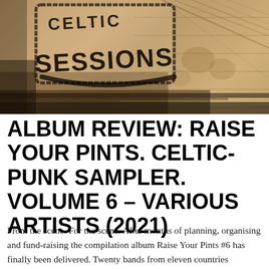[Figure (photo): Sepia-toned photograph of a stamp/logo reading 'SESSIONS' on a distressed wooden background. Part of the 'Celtic Sessions' logo visible in black stamped text on aged wood planks.]
ALBUM REVIEW: RAISE YOUR PINTS. CELTIC- PUNK SAMPLER. VOLUME 6 – VARIOUS ARTISTS (2021)
From the scene. For the scene. After months of planning, organising and fund-raising the compilation album Raise Your Pints #6 has finally been delivered. Twenty bands from eleven countries celebrating (might be the wrong word) the Celtic Punk scene...